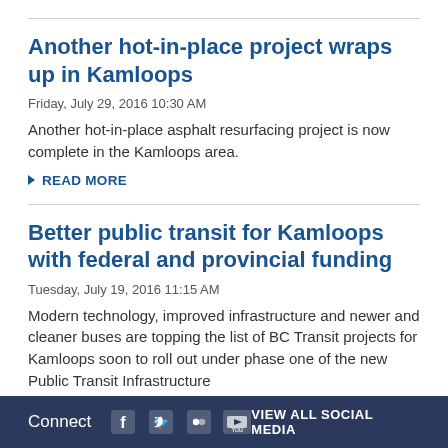Another hot-in-place project wraps up in Kamloops
Friday, July 29, 2016 10:30 AM
Another hot-in-place asphalt resurfacing project is now complete in the Kamloops area.
READ MORE
Better public transit for Kamloops with federal and provincial funding
Tuesday, July 19, 2016 11:15 AM
Modern technology, improved infrastructure and newer and cleaner buses are topping the list of BC Transit projects for Kamloops soon to roll out under phase one of the new Public Transit Infrastructure
Connect   VIEW ALL SOCIAL MEDIA